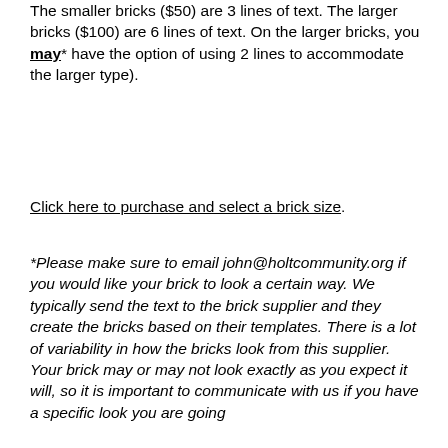The smaller bricks ($50) are 3 lines of text. The larger bricks ($100) are 6 lines of text. On the larger bricks, you may* have the option of using 2 lines to accommodate the larger type).
Click here to purchase and select a brick size.
*Please make sure to email john@holtcommunity.org if you would like your brick to look a certain way. We typically send the text to the brick supplier and they create the bricks based on their templates. There is a lot of variability in how the bricks look from this supplier. Your brick may or may not look exactly as you expect it will, so it is important to communicate with us if you have a specific look you are going